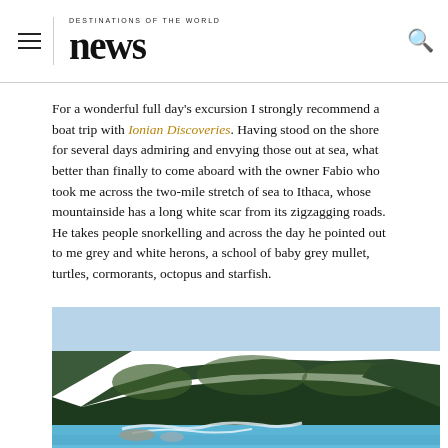DESTINATIONS OF THE WORLD news
For a wonderful full day's excursion I strongly recommend a boat trip with Ionian Discoveries. Having stood on the shore for several days admiring and envying those out at sea, what better than finally to come aboard with the owner Fabio who took me across the two-mile stretch of sea to Ithaca, whose mountainside has a long white scar from its zigzagging roads. He takes people snorkelling and across the day he pointed out to me grey and white herons, a school of baby grey mullet, turtles, cormorants, octopus and starfish.
[Figure (photo): Aerial or elevated view of a forested rocky coastline meeting vivid blue-green sea, with white surf along the shoreline rocks.]